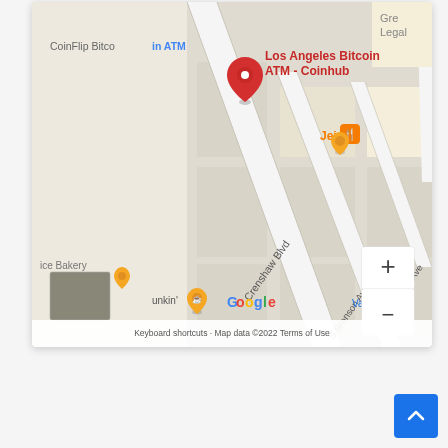[Figure (map): Google Maps screenshot showing Los Angeles area with a red pin marker for 'Los Angeles Bitcoin ATM - Coinhub', CoinFlip Bitcoin ATM label, Jeju restaurant, Crenshaw Blvd, S Bronson Ave, 12th Ave, 6th Ave streets visible. Also shows Google logo, zoom controls (+/-), a street view thumbnail, and footer text: 'Keyboard shortcuts · Map data ©2022 · Terms of Use'. A Dunkin' and Valerie's Th... marker also visible.]